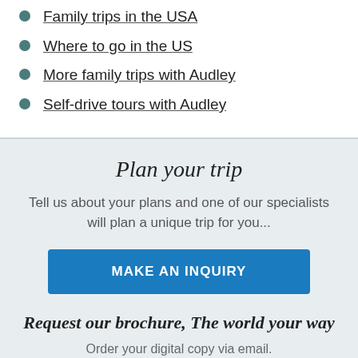Family trips in the USA
Where to go in the US
More family trips with Audley
Self-drive tours with Audley
Plan your trip
Tell us about your plans and one of our specialists will plan a unique trip for you...
MAKE AN INQUIRY
Request our brochure, The world your way
Order your digital copy via email.